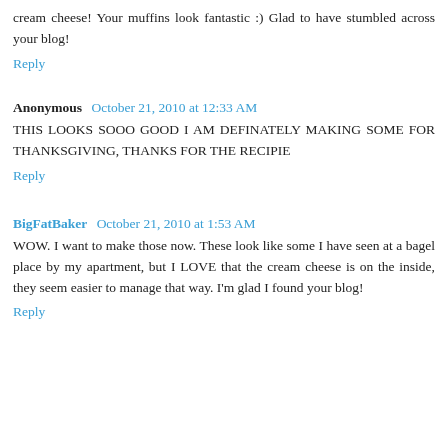cream cheese! Your muffins look fantastic :) Glad to have stumbled across your blog!
Reply
Anonymous October 21, 2010 at 12:33 AM
THIS LOOKS SOOO GOOD I AM DEFINATELY MAKING SOME FOR THANKSGIVING, THANKS FOR THE RECIPIE
Reply
BigFatBaker October 21, 2010 at 1:53 AM
WOW. I want to make those now. These look like some I have seen at a bagel place by my apartment, but I LOVE that the cream cheese is on the inside, they seem easier to manage that way. I'm glad I found your blog!
Reply